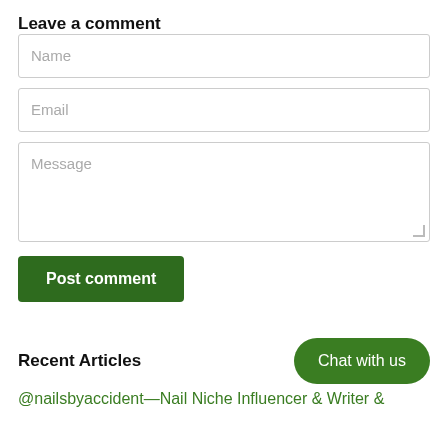Leave a comment
Name
Email
Message
Post comment
Recent Articles
Chat with us
@nailsbyaccident—Nail Niche Influencer & Writer &